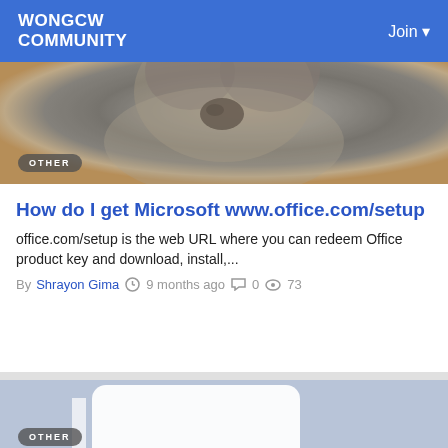WONGCW Community | Join
[Figure (photo): Close-up photo of a koala's face and nose, with an 'OTHER' badge overlay in the lower left]
How do I get Microsoft www.office.com/setup
office.com/setup is the web URL where you can redeem Office product key and download, install,...
By Shrayon Gima  9 months ago  0  73
[Figure (illustration): Placeholder image with mountains icon on a light blue-grey background, with an 'OTHER' badge at the bottom left]